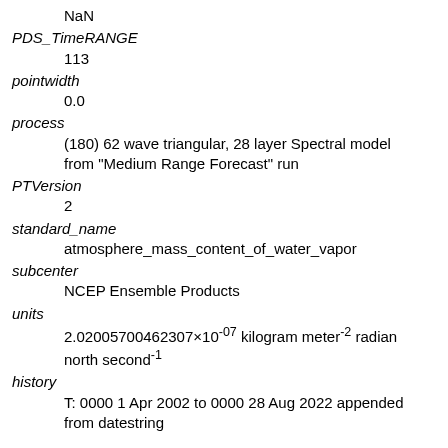NaN
PDS_TimeRANGE
113
pointwidth
0.0
process
(180) 62 wave triangular, 28 layer Spectral model from "Medium Range Forecast" run
PTVersion
2
standard_name
atmosphere_mass_content_of_water_vapor
subcenter
NCEP Ensemble Products
units
2.02005700462307×10⁻⁰⁷ kilogram meter⁻² radian north second⁻¹
history
T: 0000 1 Apr 2002 to 0000 28 Aug 2022 appended from datestring
References
Kalnay E, M Kanamitsu, R Kistler, W Collins, D...